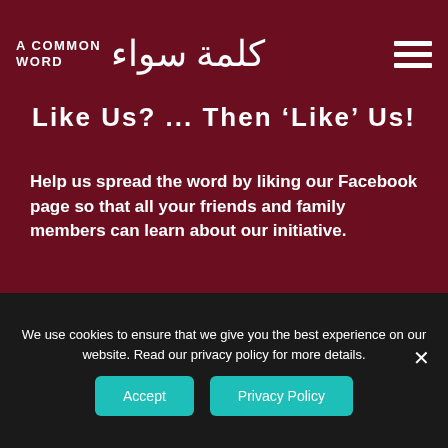A COMMON WORD
Like Us? ... Then 'Like' Us!
Help us spread the word by liking our Facebook page so that all your friends and family members can learn about our initiative.
Visit Us On Facebook »
Royal Aal Al Bayt Institute for Islamic Thought
The Amman Message
Islam and Buddhism
We use cookies to ensure that we give you the best experience on our website. Read our privacy policy for more details.